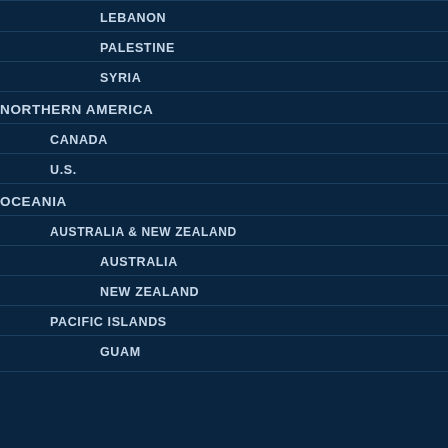LEBANON
PALESTINE
SYRIA
NORTHERN AMERICA
CANADA
U.S.
OCEANIA
AUSTRALIA & NEW ZEALAND
AUSTRALIA
NEW ZEALAND
PACIFIC ISLANDS
GUAM